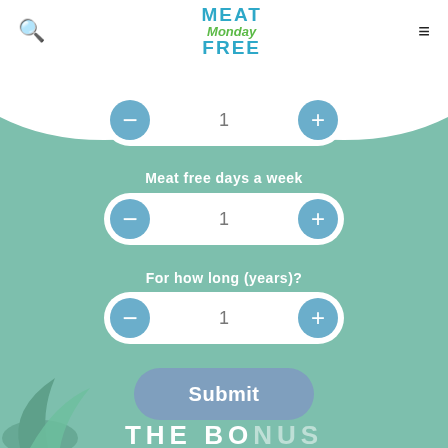Meat Free Monday (logo)
Meat free days a week
1
For how long (years)?
1
Submit
THE BONUS